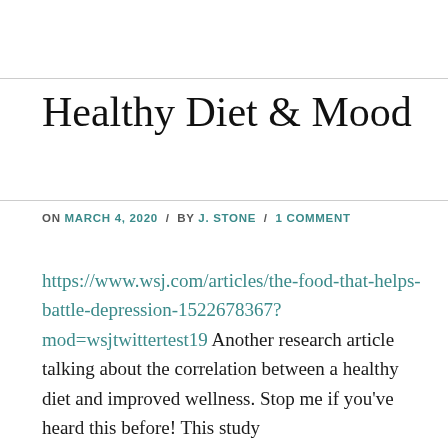Healthy Diet & Mood
ON MARCH 4, 2020 / BY J. STONE / 1 COMMENT
https://www.wsj.com/articles/the-food-that-helps-battle-depression-1522678367?mod=wsjtwittertest19 Another research article talking about the correlation between a healthy diet and improved wellness. Stop me if you've heard this before! This study